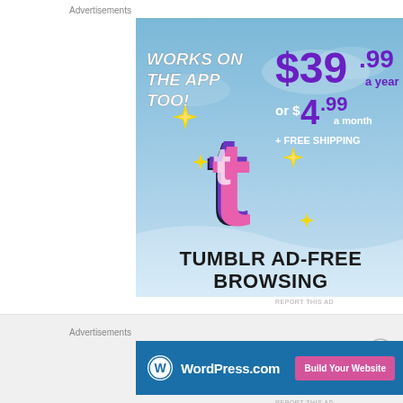Advertisements
[Figure (illustration): Tumblr Ad-Free Browsing advertisement. Sky blue background with Tumblr logo (stylized 't' in purple, pink, and white). Text: 'WORKS ON THE APP TOO!' in white bold italic. Price: '$39.99 a year or $4.99 a month + FREE SHIPPING' in purple and white. Yellow sparkle stars around logo. Bottom banner says 'TUMBLR AD-FREE BROWSING' in bold black text on light blue wave shape.]
REPORT THIS AD
Advertisements
[Figure (illustration): WordPress.com advertisement on dark blue background. WordPress logo on left, 'WordPress.com' text in white. Pink button on right reading 'Build Your Website'.]
REPORT THIS AD